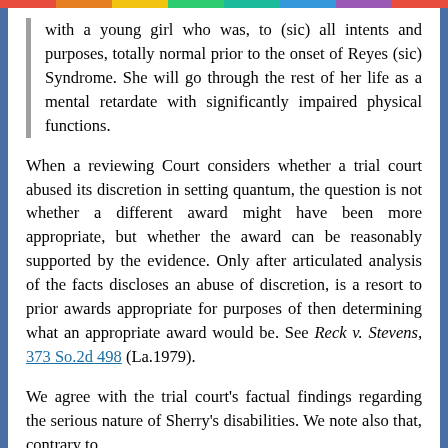with a young girl who was, to (sic) all intents and purposes, totally normal prior to the onset of Reyes (sic) Syndrome. She will go through the rest of her life as a mental retardate with significantly impaired physical functions.
When a reviewing Court considers whether a trial court abused its discretion in setting quantum, the question is not whether a different award might have been more appropriate, but whether the award can be reasonably supported by the evidence. Only after articulated analysis of the facts discloses an abuse of discretion, is a resort to prior awards appropriate for purposes of then determining what an appropriate award would be. See Reck v. Stevens, 373 So.2d 498 (La.1979).
We agree with the trial court's factual findings regarding the serious nature of Sherry's disabilities. We note also that, contrary to